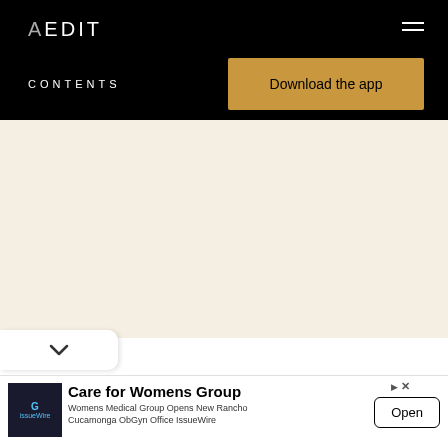AEDIT
CONTENTS
Download the app
[Figure (screenshot): Large empty cream/off-white content area below the AEDIT header navigation]
v (chevron/dropdown button)
Care for Womens Group
Womens Medical Group Opens New Rancho Cucamonga ObGyn Office IssueWire
Open